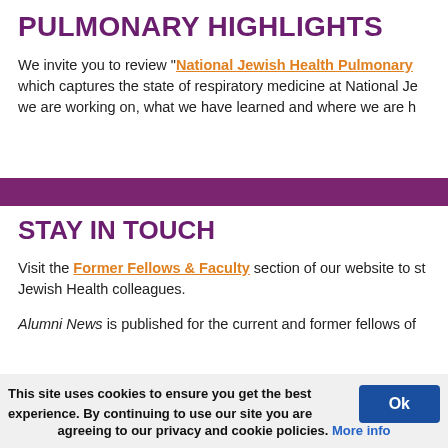PULMONARY HIGHLIGHTS
We invite you to review "National Jewish Health Pulmonary which captures the state of respiratory medicine at National Je we are working on, what we have learned and where we are h
[Figure (other): Purple horizontal divider bar]
STAY IN TOUCH
Visit the Former Fellows & Faculty section of our website to st Jewish Health colleagues.
Alumni News is published for the current and former fellows of
This site uses cookies to ensure you get the best experience. By continuing to use our site you are agreeing to our privacy and cookie policies. More info